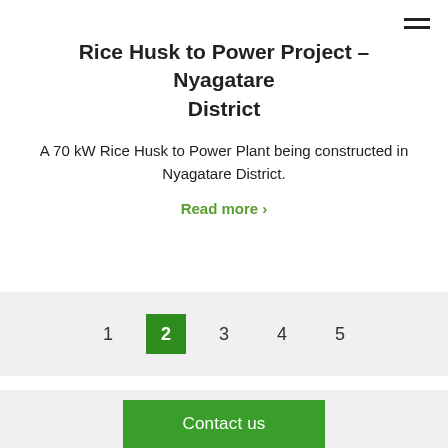Rice Husk to Power Project – Nyagatare District
A 70 kW Rice Husk to Power Plant being constructed in Nyagatare District.
Read more ›
1  2  3  4  5
Contact us